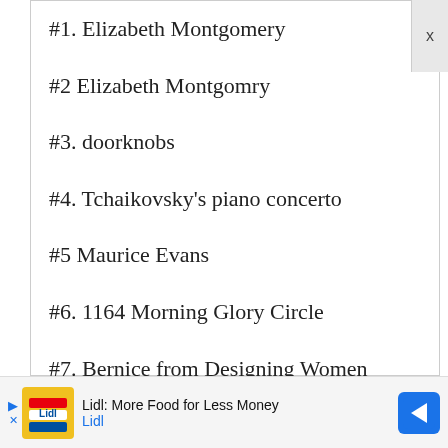#1. Elizabeth Montgomery
#2 Elizabeth Montgomry
#3. doorknobs
#4. Tchaikovsky's piano concerto
#5 Maurice Evans
#6. 1164 Morning Glory Circle
#7. Bernice from Designing Women
#8. employed at McMann and Tate which
[Figure (other): Lidl advertisement banner: Lidl: More Food for Less Money with Lidl logo and navigation arrow icon]